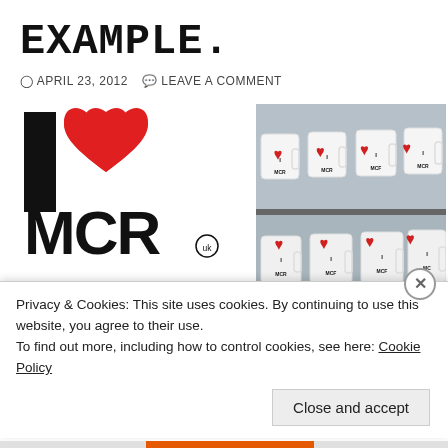EXAMPLE.
APRIL 23, 2012   LEAVE A COMMENT
[Figure (logo): I love MCR logo — bold black I and MCR text with a large red heart, with uk trademark symbol]
[Figure (photo): Photo of white I love MCR mugs on a display shelf in a shop]
"I ... MCR" ... ... Facebook and Twit...
Privacy & Cookies: This site uses cookies. By continuing to use this website, you agree to their use.
To find out more, including how to control cookies, see here: Cookie Policy
Close and accept